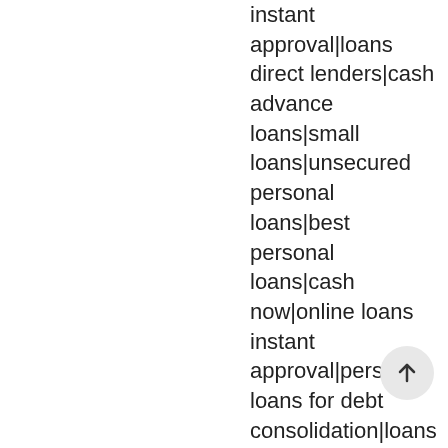instant approval|loans direct lenders|cash advance loans|small loans|unsecured personal loans|best personal loans|cash now|online loans instant approval|personal loans for debt consolidation|loans for people with bad credit|money lenders|credit personal loans|payday loans direct|payday cash|unsecured loans|consolidation loans for bad credit|bad credit personal loans|installment loans for bad credit|debt consolidation loan|get a loan|payday lenders|payday loans direct lenders|cash payday loans|fast loans|advance payday|no credit check payday loans|cash advance online|best debt consolidation loans|fast payday|online payday loan|a loan with bad credit|paydayloans|direct loan|bad credit loan|online loan|same day payday loans|no credit check payday loans instant approval|need a loan|advance loan|installment loan|loan for bad credit|debt consolidation loans for bad credit|personal loans bad credit|fast loan|personal loans with bad credit|loans for